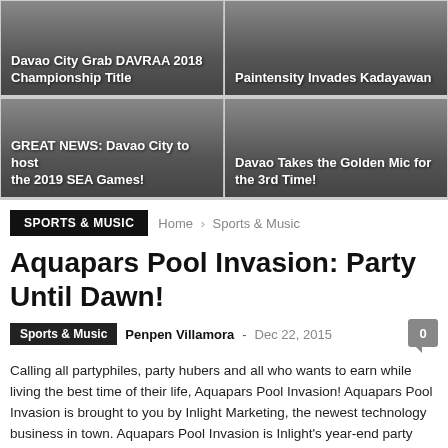[Figure (photo): Top-left grid cell with dark gradient background and title 'Davao City Grab DAVRAA 2018 Championship Title']
[Figure (photo): Top-right grid cell with dark gradient background and title 'Paintensity Invades Kadayawan']
[Figure (photo): Bottom-left grid cell with dark gradient background and title 'GREAT NEWS: Davao City to host the 2019 SEA Games!']
[Figure (photo): Bottom-right grid cell with dark gradient background and title 'Davao Takes the Golden Mic for the 3rd Time!']
SPORTS & MUSIC   Home > Sports & Music
Aquapars Pool Invasion: Party Until Dawn!
Sports & Music   Penpen Villamora  -  Dec 22, 2015
Calling all partyphiles, party hubers and all who wants to earn while living the best time of their life, Aquapars Pool Invasion! Aquapars Pool Invasion is brought to you by Inlight Marketing, the newest technology business in town. Aquapars Pool Invasion is Inlight's year-end party featuring the hippest DJ's in town with their newest upbeat electro music that will surely make...